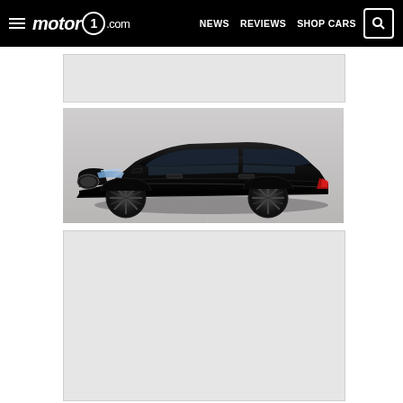motor1.com | NEWS  REVIEWS  SHOP CARS
[Figure (other): Gray placeholder/advertisement banner at top of page content area]
[Figure (photo): Black Tesla Model S sedan photographed from front three-quarter angle on a light gray paved surface]
[Figure (other): Gray placeholder/advertisement banner at bottom of page content area]